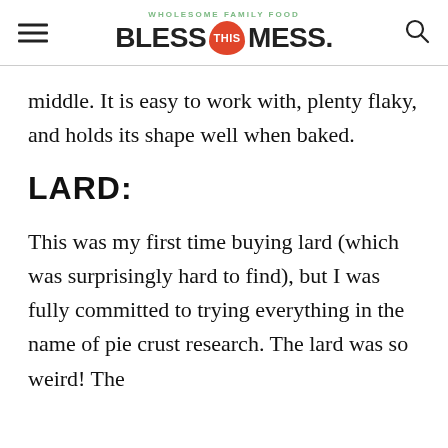WHOLESOME FAMILY FOOD — BLESS THIS MESS.
middle. It is easy to work with, plenty flaky, and holds its shape well when baked.
LARD:
This was my first time buying lard (which was surprisingly hard to find), but I was fully committed to trying everything in the name of pie crust research. The lard was so weird! The